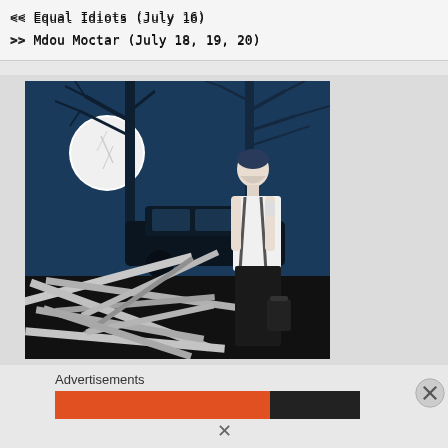<< Equal Idiots (July 16)
>> Mdou Moctar (July 18, 19, 20)
[Figure (illustration): Illustration of a man in suspenders and dark pants, standing amid scattered wooden planks/debris. Background shows bare dark trees, a full moon, and a dark vintage car. The scene has a noir, blue-tinted atmospheric quality with black and white foreground elements.]
Advertisements
[Figure (screenshot): Orange and dark advertisement banner, partially visible]